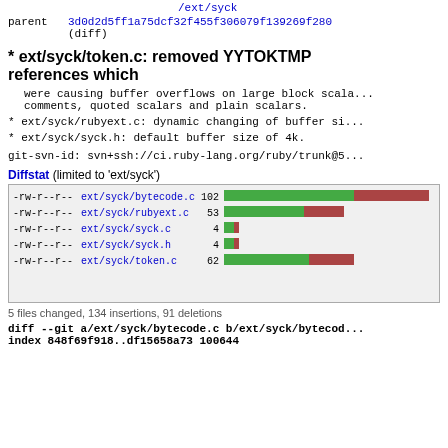/ext/syck
parent    3d0d2d5ff1a75dcf32f455f306079f139269f280
(diff)
* ext/syck/token.c: removed YYTOKTMP references which
were causing buffer overflows on large block scala...
comments, quoted scalars and plain scalars.
* ext/syck/rubyext.c: dynamic changing of buffer si...
* ext/syck/syck.h: default buffer size of 4k.
git-svn-id: svn+ssh://ci.ruby-lang.org/ruby/trunk@5...
Diffstat (limited to 'ext/syck')
[Figure (bar-chart): Diffstat]
5 files changed, 134 insertions, 91 deletions
diff --git a/ext/syck/bytecode.c b/ext/syck/bytecod...
index 848f69f918..df15658a73 100644